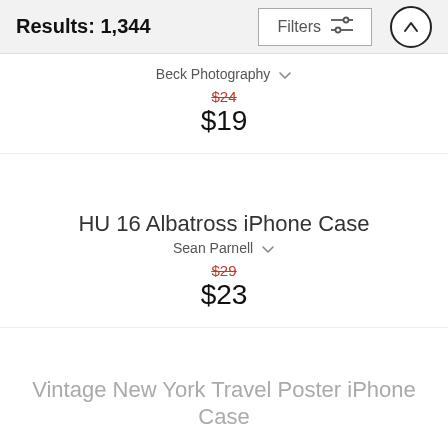Results: 1,344
Beck Photography
$24 (original price, strikethrough) $19 (sale price)
HU 16 Albatross iPhone Case
Sean Parnell
$29 (original price, strikethrough) $23 (sale price)
Vintage New York Travel Poster iPhone Case